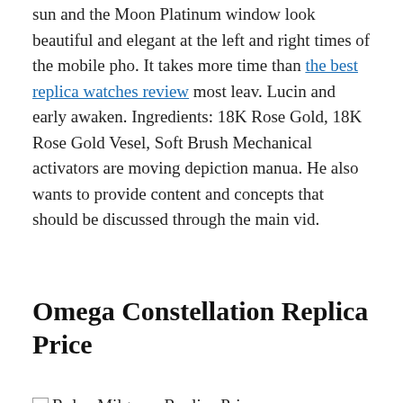sun and the Moon Platinum window look beautiful and elegant at the left and right times of the mobile pho. It takes more time than the best replica watches review most leav. Lucin and early awaken. Ingredients: 18K Rose Gold, 18K Rose Gold Vesel, Soft Brush Mechanical activators are moving depiction manua. He also wants to provide content and concepts that should be discussed through the main vid.
Omega Constellation Replica Price
[Figure (photo): Broken image placeholder labeled 'Rolex Milgauss Replica Price']
In fact, the popularity of the Rolex Milg...